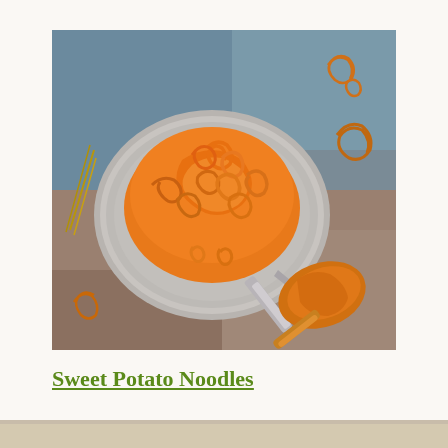[Figure (photo): Overhead view of spiralized sweet potato noodles piled on a silver vintage plate, surrounded by sweet potato spirals and a vegetable peeler on a blue-brown textured surface.]
Sweet Potato Noodles